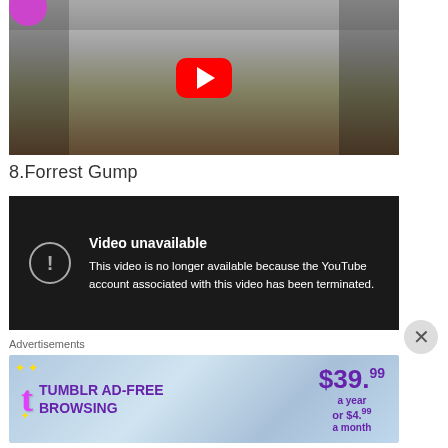[Figure (screenshot): YouTube video thumbnail showing a house porch scene with a red YouTube play button overlay and a purple circle in the top-left corner]
8.Forrest Gump
[Figure (screenshot): YouTube video error screen on dark background with error icon and text: 'Video unavailable. This video is no longer available because the YouTube account associated with this video has been terminated.']
Advertisements
[Figure (screenshot): Tumblr ad-free browsing advertisement banner: $39.99 a year or $4.99 a month]